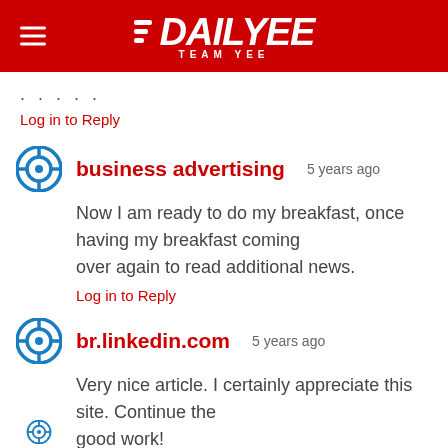DAILYEE TEAM YEE
. . . . .
Log in to Reply
business advertising  5 years ago
Now I am ready to do my breakfast, once having my breakfast coming over again to read additional news.
Log in to Reply
br.linkedin.com  5 years ago
Very nice article. I certainly appreciate this site. Continue the good work!
Log in to Reply